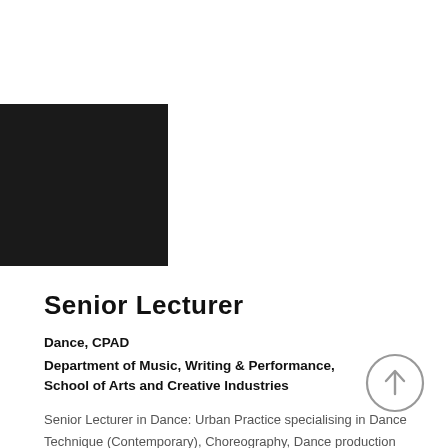[Figure (other): Black square graphic element in upper-left area]
Senior Lecturer
Dance, CPAD
Department of Music, Writing & Performance, School of Arts and Creative Industries
[Figure (other): Circle with upward arrow icon]
Senior Lecturer in Dance: Urban Practice specialising in Dance Technique (Contemporary), Choreography, Dance production and Industry placements and employability.